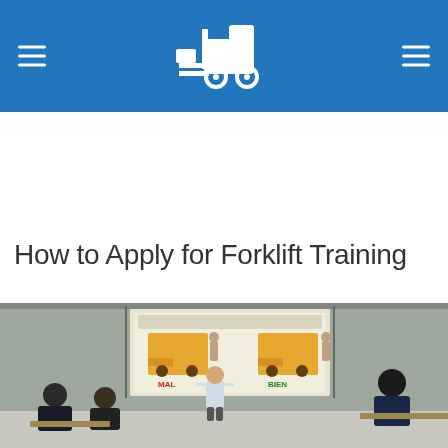How to Apply for Forklift Training – website header with forklift logo
How to Apply for Forklift Training
[Figure (photo): A classroom training session where an instructor stands in front of a projected screen showing forklift safety instructions with MAL and BIEN (Bad and Good) forklift operation examples. Several students are seated at desks facing the instructor.]